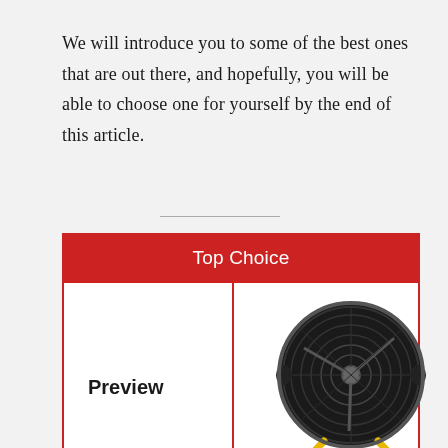We will introduce you to some of the best ones that are out there, and hopefully, you will be able to choose one for yourself by the end of this article.
| Top Choice | Preview |
| --- | --- |
| Preview | [fan image] |